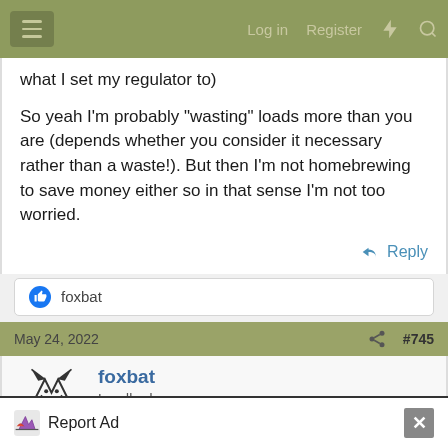Log in  Register
what I set my regulator to)

So yeah I'm probably "wasting" loads more than you are (depends whether you consider it necessary rather than a waste!). But then I'm not homebrewing to save money either so in that sense I'm not too worried.
Reply
foxbat
May 24, 2022  #745
foxbat
Landlord.
Report Ad